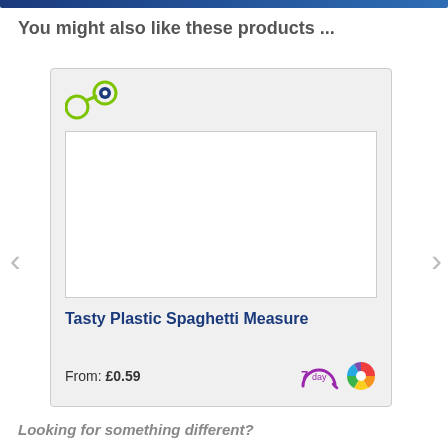You might also like these products ...
[Figure (screenshot): Product card carousel showing a product titled 'Tasty Plastic Spaghetti Measure' with a price 'From: £0.59', a blank white product image area, a green share/eye icon in the top left, and two badges (7day and colour wheel) in the bottom right. Navigation arrows are visible on the left and right sides.]
Looking for something different?